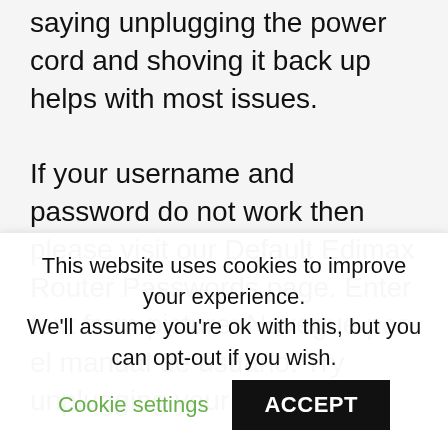saying unplugging the power cord and shoving it back up helps with most issues.

If your username and password do not work then please visit our Default Edimax Router Passwords page. Enter text from picture: Navegue por el manual de usuario: Try unplugging your
This website uses cookies to improve your experience. We'll assume you're ok with this, but you can opt-out if you wish. Cookie settings ACCEPT